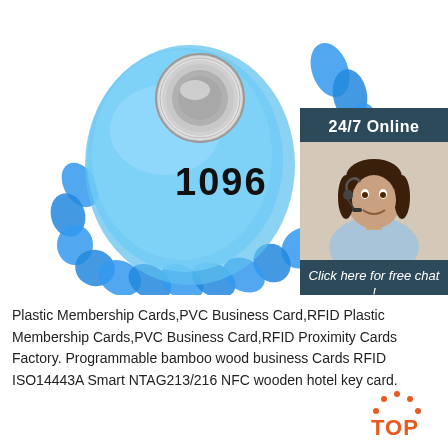[Figure (photo): Blue RFID wristband with number 1096 printed on it and a silver coin cell battery visible on top. The wristband has a chain-link style plastic strap. On the right side is a sidebar panel with '24/7 Online' header, photo of a woman with headset smiling, 'Click here for free chat!' text, and an orange 'QUOTATION' button.]
Plastic Membership Cards,PVC Business Card,RFID Plastic Membership Cards,PVC Business Card,RFID Proximity Cards Factory. Programmable bamboo wood business Cards RFID ISO14443A Smart NTAG213/216 NFC wooden hotel key card.